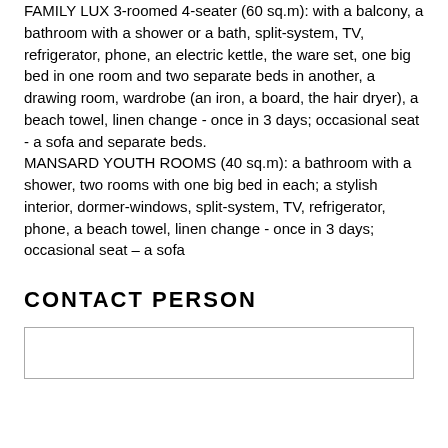FAMILY LUX 3-roomed 4-seater (60 sq.m): with a balcony, a bathroom with a shower or a bath, split-system, TV, refrigerator, phone, an electric kettle, the ware set, one big bed in one room and two separate beds in another, a drawing room, wardrobe (an iron, a board, the hair dryer), a beach towel, linen change - once in 3 days; occasional seat - a sofa and separate beds.
MANSARD YOUTH ROOMS (40 sq.m): a bathroom with a shower, two rooms with one big bed in each; a stylish interior, dormer-windows, split-system, TV, refrigerator, phone, a beach towel, linen change - once in 3 days; occasional seat – a sofa
CONTACT PERSON
|  |  |